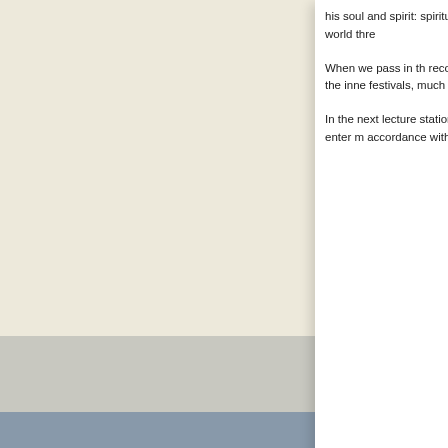his soul and spirit: spiritual world thre
When we pass in th recognise the inne festivals, much of w
In the next lecture stations, to enter m accordance with th